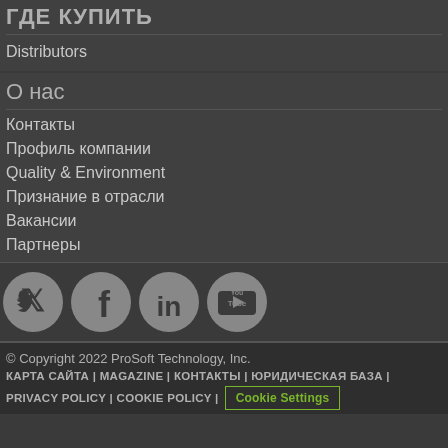ГДЕ КУПИТЬ
Distributors
О нас
Контакты
Профиль компании
Quality & Environment
Признание в отрасли
Вакансии
Партнеры
[Figure (illustration): Social media icons: Twitter, Facebook, LinkedIn, YouTube — white icons on dark circular backgrounds]
© Copyright 2022 ProSoft Technology, Inc.
КАРТА САЙТА | MAGAZINE | КОНТАКТЫ | ЮРИДИЧЕСКАЯ БАЗА |
PRIVACY POLICY | COOKIE POLICY | Cookie Settings